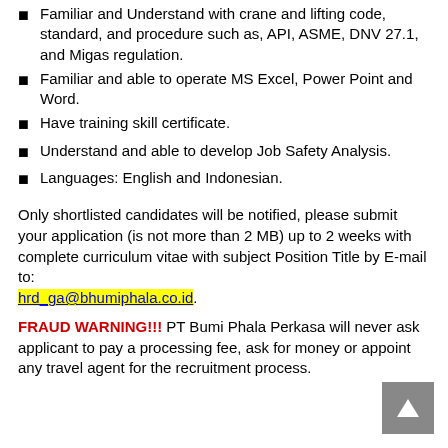Familiar and Understand with crane and lifting code, standard, and procedure such as, API, ASME, DNV 27.1, and Migas regulation.
Familiar and able to operate MS Excel, Power Point and Word.
Have training skill certificate.
Understand and able to develop Job Safety Analysis.
Languages: English and Indonesian.
Only shortlisted candidates will be notified, please submit your application (is not more than 2 MB) up to 2 weeks with complete curriculum vitae with subject Position Title by E-mail to: hrd_ga@bhumiphala.co.id.
FRAUD WARNING!!! PT Bumi Phala Perkasa will never ask applicant to pay a processing fee, ask for money or appoint any travel agent for the recruitment process.